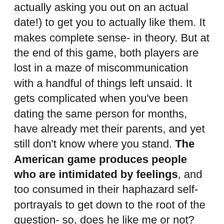actually asking you out on an actual date!) to get you to actually like them. It makes complete sense- in theory. But at the end of this game, both players are lost in a maze of miscommunication with a handful of things left unsaid. It gets complicated when you've been dating the same person for months, have already met their parents, and yet still don't know where you stand. The American game produces people who are intimidated by feelings, and too consumed in their haphazard self-portrayals to get down to the root of the question- so, does he like me or not? After briefly describing simple rules to American dating, we move on to a foreigner's perception of the French and their jeux d'amour.
I admire the French dating game. It poses a stark contrast to the 'play it cool' maxim of Americans, in that the French are all about declaring their love for